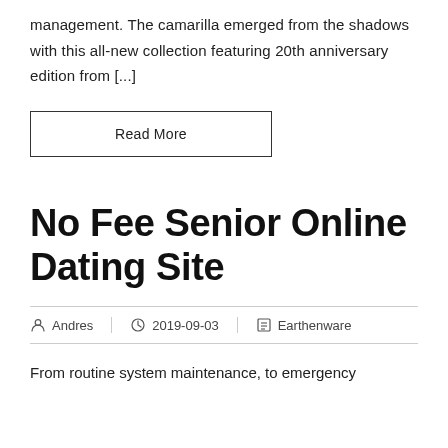management. The camarilla emerged from the shadows with this all-new collection featuring 20th anniversary edition from [...]
Read More
No Fee Senior Online Dating Site
Andres  2019-09-03  Earthenware
From routine system maintenance, to emergency